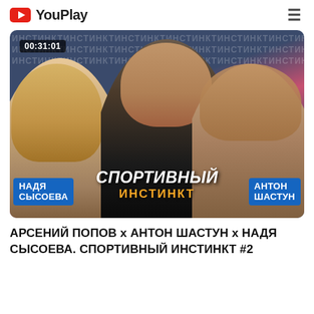YouPlay
[Figure (screenshot): Video thumbnail showing three people: Nadya Sysoeva (blonde woman, left), a man in black (center), and Anton Shastun (right), with the show title 'СПОРТИВНЫЙ ИНСТИНКТ' displayed. Duration timestamp 00:31:01 shown in top-left of thumbnail.]
АРСЕНИЙ ПОПОВ x АНТОН ШАСТУН x НАДЯ СЫСОЕВА. СПОРТИВНЫЙ ИНСТИНКТ #2